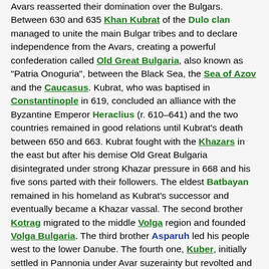Avars reasserted their domination over the Bulgars. Between 630 and 635 Khan Kubrat of the Dulo clan managed to unite the main Bulgar tribes and to declare independence from the Avars, creating a powerful confederation called Old Great Bulgaria, also known as "Patria Onoguria", between the Black Sea, the Sea of Azov and the Caucasus. Kubrat, who was baptised in Constantinople in 619, concluded an alliance with the Byzantine Emperor Heraclius (r. 610–641) and the two countries remained in good relations until Kubrat's death between 650 and 663. Kubrat fought with the Khazars in the east but after his demise Old Great Bulgaria disintegrated under strong Khazar pressure in 668 and his five sons parted with their followers. The eldest Batbayan remained in his homeland as Kubrat's successor and eventually became a Khazar vassal. The second brother Kotrag migrated to the middle Volga region and founded Volga Bulgaria. The third brother Asparuh led his people west to the lower Danube. The fourth one, Kuber, initially settled in Pannonia under Avar suzerainty but revolted and moved to the region of Macedonia, while the fifth brother Alcek settled in central Italy.